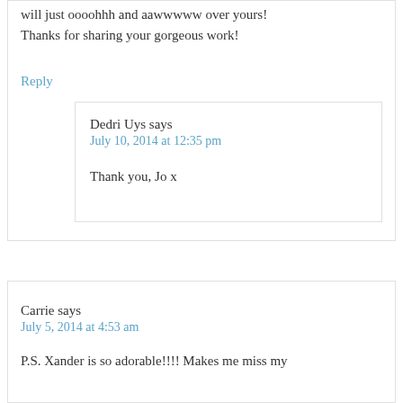will just oooohhh and aawwwww over yours! Thanks for sharing your gorgeous work!
Reply
Dedri Uys says
July 10, 2014 at 12:35 pm
Thank you, Jo x
Carrie says
July 5, 2014 at 4:53 am
P.S. Xander is so adorable!!!! Makes me miss my